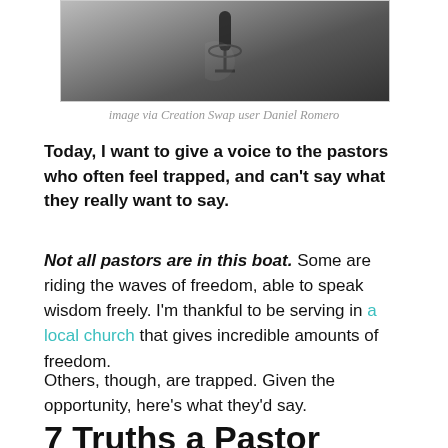[Figure (photo): Black and white photo of a microphone, close-up]
image via Creation Swap user Daniel Romero
Today, I want to give a voice to the pastors who often feel trapped, and can't say what they really want to say.
Not all pastors are in this boat. Some are riding the waves of freedom, able to speak wisdom freely. I'm thankful to be serving in a local church that gives incredible amounts of freedom.
Others, though, are trapped. Given the opportunity, here's what they'd say.
7 Truths a Pastor Wishes They